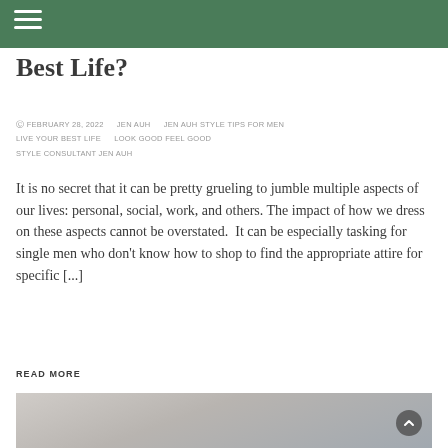Best Life?
FEBRUARY 28, 2022   JEN AUH   JEN AUH STYLE TIPS FOR MEN   LIVE YOUR BEST LIFE   LOOK GOOD FEEL GOOD   STYLE CONSULTANT JEN AUH
It is no secret that it can be pretty grueling to jumble multiple aspects of our lives: personal, social, work, and others. The impact of how we dress on these aspects cannot be overstated.  It can be especially tasking for single men who don't know how to shop to find the appropriate attire for specific [...]
READ MORE
[Figure (photo): A person resting on a bed or couch with light-colored pillows, wearing a brown jacket and blue clothing, with a scroll-to-top button overlay]